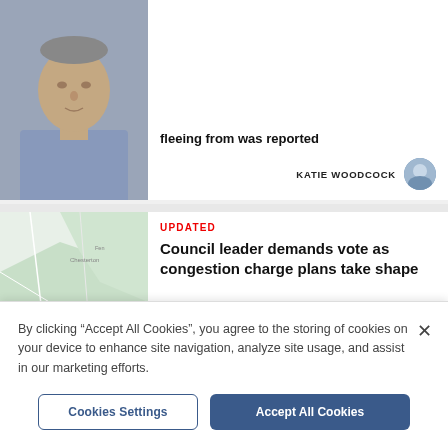[Figure (photo): Partially visible article card with a mugshot photo of a man and partial headline text 'fleeing from was reported' with author byline KATIE WOODCOCK]
fleeing from was reported
KATIE WOODCOCK
UPDATED
Council leader demands vote as congestion charge plans take shape
DANIEL MASON
By clicking “Accept All Cookies”, you agree to the storing of cookies on your device to enhance site navigation, analyze site usage, and assist in our marketing efforts.
Cookies Settings
Accept All Cookies